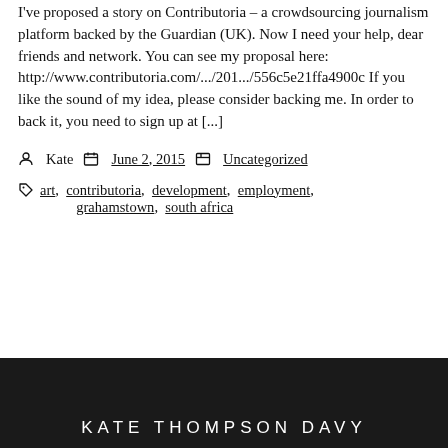I've proposed a story on Contributoria – a crowdsourcing journalism platform backed by the Guardian (UK). Now I need your help, dear friends and network. You can see my proposal here: http://www.contributoria.com/.../201.../556c5e21ffa4900c If you like the sound of my idea, please consider backing me. In order to back it, you need to sign up at [...]
Post by Kate  Date June 2, 2015  Category Uncategorized
Tags art, contributoria, development, employment, grahamstown, south africa
KATE THOMPSON DAVY